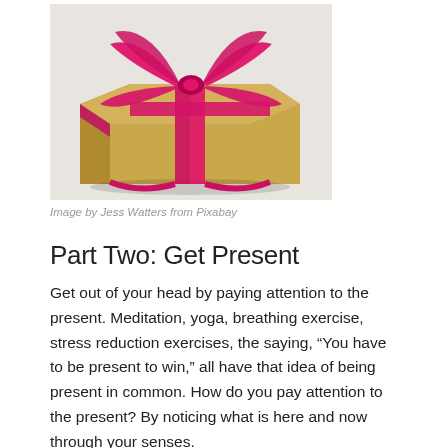[Figure (photo): A gold/tan wrapped gift box with a bright pink/magenta satin ribbon bow on top, photographed against a light background.]
Image by Jess Watters from Pixabay
Part Two: Get Present
Get out of your head by paying attention to the present. Meditation, yoga, breathing exercise, stress reduction exercises, the saying, “You have to be present to win,” all have that idea of being present in common. How do you pay attention to the present? By noticing what is here and now through your senses.
Use each of your 5 sense to “orient” you to the present.